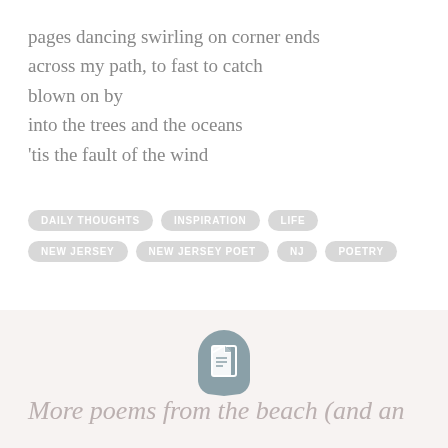pages dancing swirling on corner ends
across my path, to fast to catch
blown on by
into the trees and the oceans
'tis the fault of the wind
DAILY THOUGHTS
INSPIRATION
LIFE
NEW JERSEY
NEW JERSEY POET
NJ
POETRY
[Figure (illustration): A document/page icon in grayish-teal color, shield-shaped background]
More poems from the beach (and an